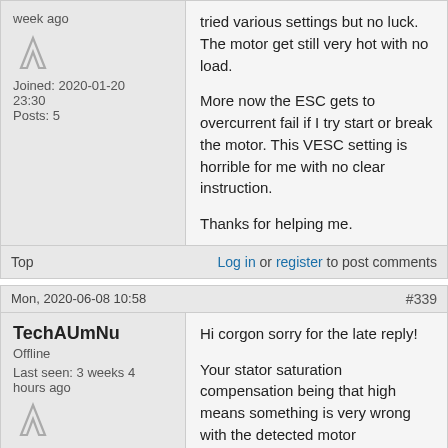week ago
Joined: 2020-01-20 23:30
Posts: 5
tried various settings but no luck. The motor get still very hot with no load.

More now the ESC gets to overcurrent fail if I try start or break the motor. This VESC setting is horrible for me with no clear instruction.

Thanks for helping me.
Top
Log in or register to post comments
Mon, 2020-06-08 10:58
#339
TechAUmNu
Offline
Last seen: 3 weeks 4 hours ago
Joined: 2017-09-22 01:27
Posts: 571
Hi corgon sorry for the late reply!

Your stator saturation compensation being that high means something is very wrong with the detected motor parameters.

Please can you do the following: